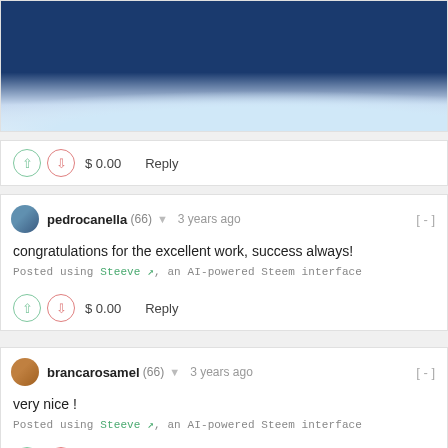[Figure (photo): Blurred photo of a person walking on a dark blue surface with white cloud/foam-like texture]
$ 0.00   Reply
pedrocanella (66) ▼  3 years ago  [-]
congratulations for the excellent work, success always!
Posted using Steeve ↗, an AI-powered Steem interface
$ 0.00   Reply
brancarosamel (66) ▼  3 years ago  [-]
very nice !
Posted using Steeve ↗, an AI-powered Steem interface
$ 0.00   Reply
bastter (61) ▼  3 years ago  [-]